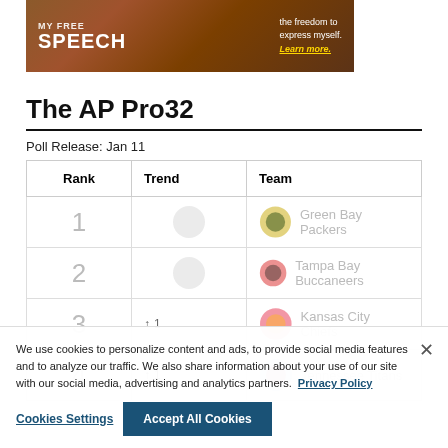[Figure (photo): Advertisement banner with text 'FREE SPEECH the freedom to express myself. Learn more.' on a brown/sepia background with a person in uniform]
The AP Pro32
Poll Release: Jan 11
| Rank | Trend | Team |
| --- | --- | --- |
| 1 |  | Green Bay Packers |
| 2 |  | Tampa Bay Buccaneers |
| 3 | ↑ 1 | Kansas City Chiefs |
| 4 | ↑ 1 | Tennessee Titans |
We use cookies to personalize content and ads, to provide social media features and to analyze our traffic. We also share information about your use of our site with our social media, advertising and analytics partners.  Privacy Policy
Cookies Settings  Accept All Cookies